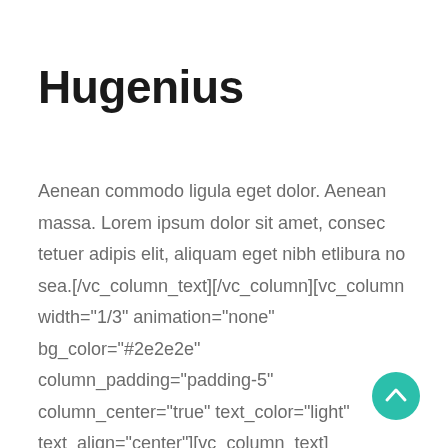Hugenius
Aenean commodo ligula eget dolor. Aenean massa. Lorem ipsum dolor sit amet, consec tetuer adipis elit, aliquam eget nibh etlibura no sea.[/vc_column_text][/vc_column][vc_column width="1/3" animation="none" bg_color="#2e2e2e" column_padding="padding-5" column_center="true" text_color="light" text_align="center"][vc_column_text]
[Figure (other): Teal circular back-to-top button with upward chevron arrow]